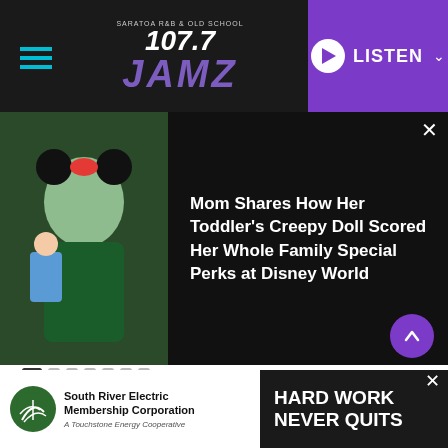107.7 JAMZ — LISTEN
[Figure (photo): Girl dressed as Minnie Mouse holding a doll at Disney World]
Mom Shares How Her Toddler's Creepy Doll Scored Her Whole Family Special Perks at Disney World
[Figure (photo): People watching a movie in a theater, smiling and clapping]
August 29, 2022
Movie Tickets Will Be $3 This Weekend; Happy National Cinema Day!
[Figure (logo): South River Electric Membership Corporation advertisement — HARD WORK NEVER QUITS]